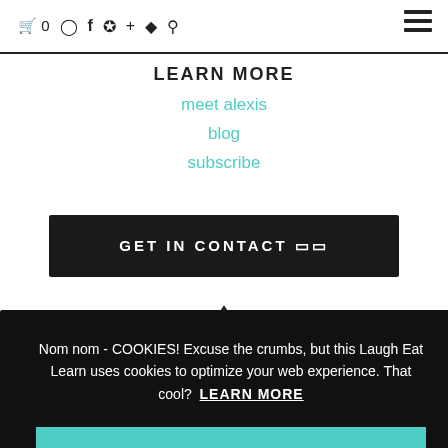🛒 0  [instagram] [facebook] [pinterest] + [apple] [search]  ☰
LEARN MORE
meet alexis
blog
subscribe
GET IN CONTACT 🗂
[Figure (logo): Mountain/tent logo icon for Laugh Eat Learn brand]
[Figure (illustration): Handwritten cursive script signature]
Nom nom - COOKIES! Excuse the crumbs, but this Laugh Eat Learn uses cookies to optimize your web experience. That cool?  LEARN MORE
Yes, YUM!
PST). Most responses will receive a reply within 24-48 hours.